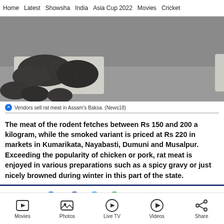Home  Latest  Showsha  India  Asia Cup 2022  Movies  Cricket
[Figure (photo): Rat meat displayed on cloth spread on ground, multiple pieces visible]
Vendors sell rat meat in Assam's Baksa. (News18)
The meat of the rodent fetches between Rs 150 and 200 a kilogram, while the smoked variant is priced at Rs 220 in markets in Kumarikata, Nayabasti, Dumuni and Musalpur. Exceeding the popularity of chicken or pork, rat meat is enjoyed in various preparations such as a spicy gravy or just nicely browned during winter in this part of the state.
Movies  Photos  Live TV  Videos  Share